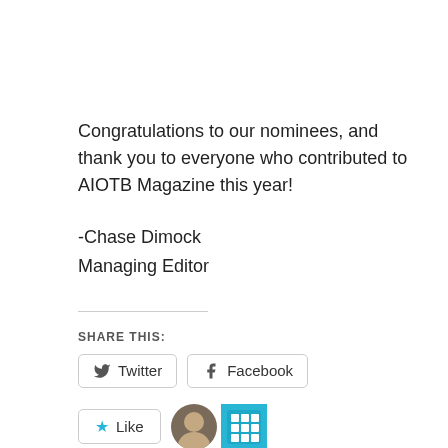Congratulations to our nominees, and thank you to everyone who contributed to AIOTB Magazine this year!
-Chase Dimock
Managing Editor
SHARE THIS:
Twitter | Facebook
Like | 2 bloggers like this.
Tagged American Literature, American Poetry, Best of the Net, contemporary poetry, Dan Overgaard,